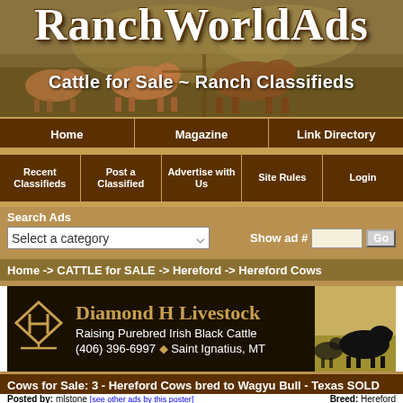RanchWorldAds
Cattle for Sale ~ Ranch Classifieds
Home | Magazine | Link Directory
Recent Classifieds | Post a Classified | Advertise with Us | Site Rules | Login
Search Ads - Select a category | Show ad # [input] Go
Home -> CATTLE for SALE -> Hereford -> Hereford Cows
[Figure (illustration): Diamond H Livestock advertisement banner with logo, text 'Raising Purebred Irish Black Cattle', phone (406) 396-6997, Saint Ignatius MT, and silhouette photo of black cattle]
Cows for Sale: 3 - Hereford Cows bred to Wagyu Bull - Texas SOLD
Posted by: mlstone [see other ads by this poster] | Breed: Hereford